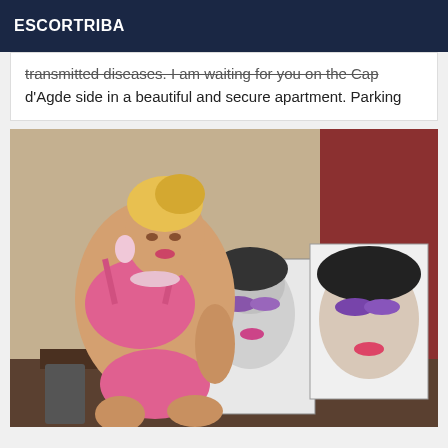ESCORTRIBA
transmitted diseases. I am waiting for you on the Cap d'Agde side in a beautiful and secure apartment. Parking
[Figure (photo): A woman with blonde hair wearing pink lingerie, posing in a room with artwork/canvas prints visible in the background]